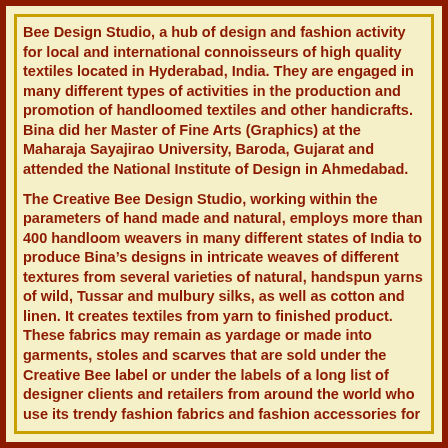Bee Design Studio, a hub of design and fashion activity for local and international connoisseurs of high quality textiles located in Hyderabad, India. They are engaged in many different types of activities in the production and promotion of handloomed textiles and other handicrafts. Bina did her Master of Fine Arts (Graphics) at the Maharaja Sayajirao University, Baroda, Gujarat and attended the National Institute of Design in Ahmedabad.
The Creative Bee Design Studio, working within the parameters of hand made and natural, employs more than 400 handloom weavers in many different states of India to produce Bina’s designs in intricate weaves of different textures from several varieties of natural, handspun yarns of wild, Tussar and mulbury silks, as well as cotton and linen. It creates textiles from yarn to finished product. These fabrics may remain as yardage or made into garments, stoles and scarves that are sold under the Creative Bee label or under the labels of a long list of designer clients and retailers from around the world who use its trendy fashion fabrics and fashion accessories for their international fashion shows. You can see some of the silk weaves available for sale in the Creative Bee Yardage Gallery.
Bina and Kesau also set up the Creative Bee Foundation to support this and another journey, to preserve their traditional...